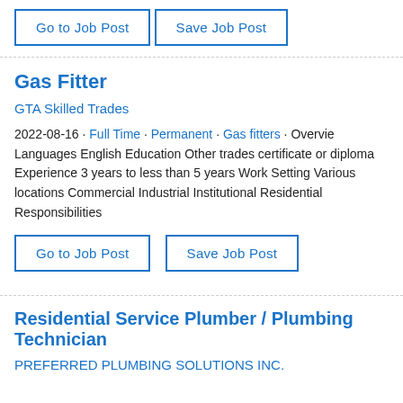Go to Job Post | Save Job Post
Gas Fitter
GTA Skilled Trades
2022-08-16 · Full Time · Permanent · Gas fitters · Overview Languages English Education Other trades certificate or diploma Experience 3 years to less than 5 years Work Setting Various locations Commercial Industrial Institutional Residential Responsibilities
Go to Job Post | Save Job Post
Residential Service Plumber / Plumbing Technician
PREFERRED PLUMBING SOLUTIONS INC.